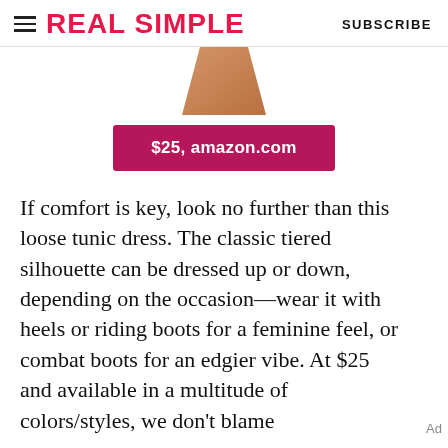REAL SIMPLE | SUBSCRIBE
[Figure (photo): Partial view of a person wearing a tunic dress, cropped to show legs/lower torso area in warm skin tones.]
$25, amazon.com
If comfort is key, look no further than this loose tunic dress. The classic tiered silhouette can be dressed up or down, depending on the occasion—wear it with heels or riding boots for a feminine feel, or combat boots for an edgier vibe. At $25 and available in a multitude of colors/styles, we don't blame